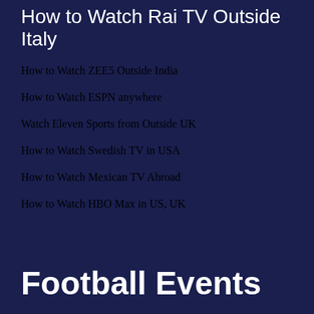How to Watch Rai TV Outside Italy
How to Watch ZEE5 Outside India
How to Watch ESPN anywhere
Watch Eleven Sports from Outside UK
How to Watch Swedish TV in USA
How to Watch Mexican TV Abroad
How to Watch HBO Max in US, UK
Football Events